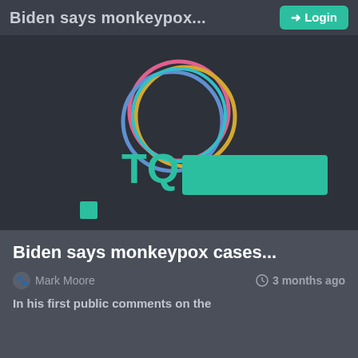Biden says monkeypox...  Login
[Figure (logo): TQ brand logo on dark background with multicolored circular swirl graphic and teal text/rectangle branding elements]
Biden says monkeypox cases...
Mark Moore   3 months ago
In his first public comments on the